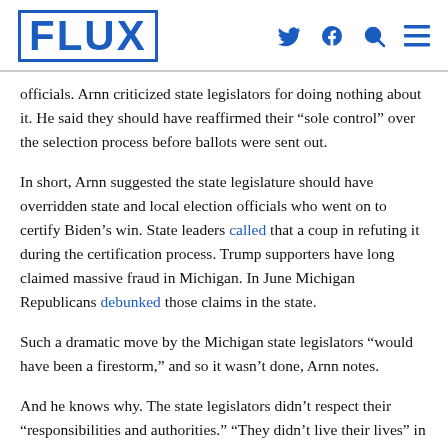FLUX
officials. Arnn criticized state legislators for doing nothing about it. He said they should have reaffirmed their “sole control” over the selection process before ballots were sent out.
In short, Arnn suggested the state legislature should have overridden state and local election officials who went on to certify Biden’s win. State leaders called that a coup in refuting it during the certification process. Trump supporters have long claimed massive fraud in Michigan. In June Michigan Republicans debunked those claims in the state.
Such a dramatic move by the Michigan state legislators “would have been a firestorm,” and so it wasn’t done, Arnn notes.
And he knows why. The state legislators didn’t respect their “responsibilities and authorities.” “They didn’t live their lives” in such a way to understand those claims.